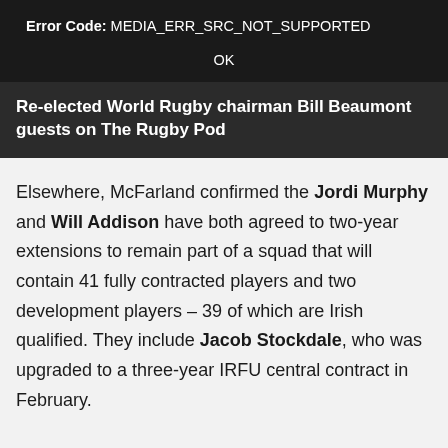[Figure (screenshot): Video player error dialog on dark background showing an error code MEDIA_ERR_SRC_NOT_SUPPORTED with an OK button]
Re-elected World Rugby chairman Bill Beaumont guests on The Rugby Pod
Elsewhere, McFarland confirmed the Jordi Murphy and Will Addison have both agreed to two-year extensions to remain part of a squad that will contain 41 fully contracted players and two development players – 39 of which are Irish qualified. They include Jacob Stockdale, who was upgraded to a three-year IRFU central contract in February.